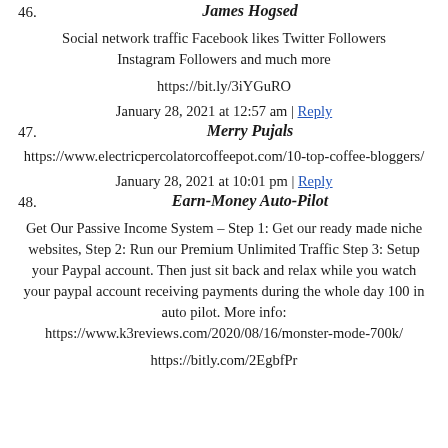46. James Hogsed
Social network traffic Facebook likes Twitter Followers Instagram Followers and much more
https://bit.ly/3iYGuRO
January 28, 2021 at 12:57 am | Reply
47. Merry Pujals
https://www.electricpercolatorcoffeepot.com/10-top-coffee-bloggers/
January 28, 2021 at 10:01 pm | Reply
48. Earn-Money Auto-Pilot
Get Our Passive Income System – Step 1: Get our ready made niche websites, Step 2: Run our Premium Unlimited Traffic Step 3: Setup your Paypal account. Then just sit back and relax while you watch your paypal account receiving payments during the whole day 100 in auto pilot. More info: https://www.k3reviews.com/2020/08/16/monster-mode-700k/
https://bitly.com/2EgbfPr